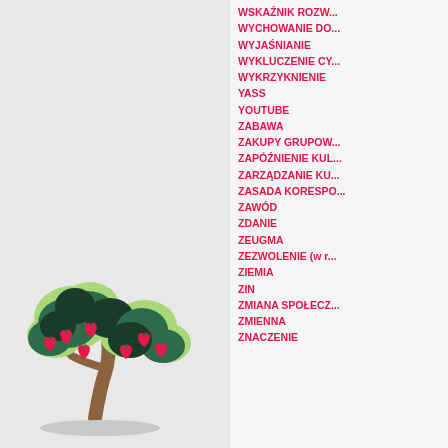[Figure (illustration): Colorful flat illustration of two apple trees with dark green, light green foliage and red heart-shaped apples, brown trunk, on a light grey background]
WSKAŹNIK ROZW...
WYCHOWANIE DO...
WYJAŚNIANIE
WYKLUCZENIE CY...
WYKRZYKNIENIE
YASS
YOUTUBE
ZABAWA
ZAKUPY GRUPOW...
ZAPÓŹNIENIE KUL...
ZARZĄDZANIE KU...
ZASADA KORESPO...
ZAWÓD
ZDANIE
ZEUGMA
ZEZWOLENIE (w r...
ZIEMIA
ZIN
ZMIANA SPOŁECZ...
ZMIENNA
ZNACZENIE